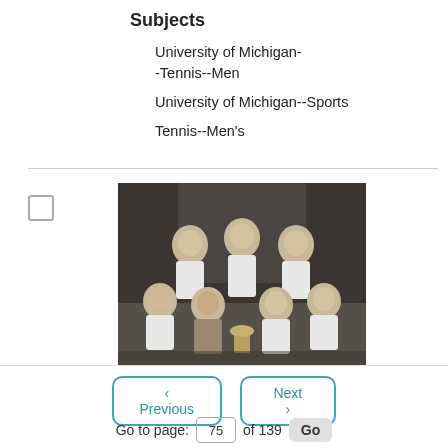Subjects
University of Michigan--Tennis--Men
University of Michigan--Sports
Tennis--Men's
[Figure (photo): Black and white photograph of the University of Michigan Men's Tennis Team, 1944. Seven men posed in two rows, wearing white athletic shirts.]
University of Michigan Men's Tennis Team, 1944; BL009667
Item Number
< Previous
Next >
Go to page: 75 of 139
Go